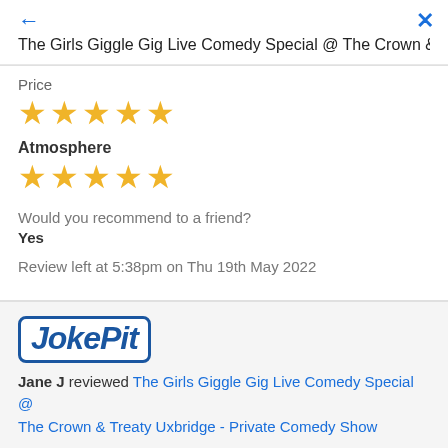← The Girls Giggle Gig Live Comedy Special @ The Crown & Treaty …
Price
★★★★★ (5 stars)
Atmosphere
★★★★★ (5 stars)
Would you recommend to a friend?
Yes
Review left at 5:38pm on Thu 19th May 2022
[Figure (logo): JokePit logo — bold blue text with border]
Jane J reviewed The Girls Giggle Gig Live Comedy Special @ The Crown & Treaty Uxbridge - Private Comedy Show